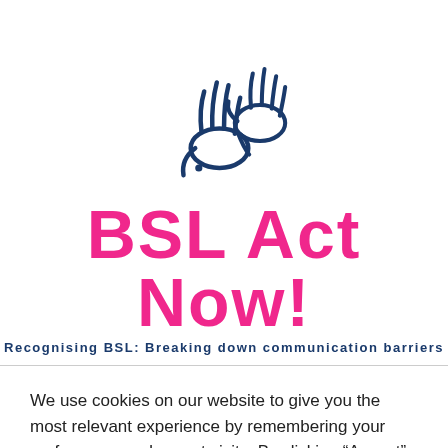[Figure (logo): BSL Act Now! logo: a line-art illustration of two hands (one open hand with spread fingers, one pointing/gripping hand) in dark navy blue, forming a sign language gesture. Below the hands is bold hot-pink text 'BSL Act Now!' and a dark navy subtitle 'Recognising BSL: Breaking down communication barriers'.]
We use cookies on our website to give you the most relevant experience by remembering your preferences and repeat visits. By clicking “Accept”, you consent to the use of ALL the cookies.
Cookie settings
ACCEPT